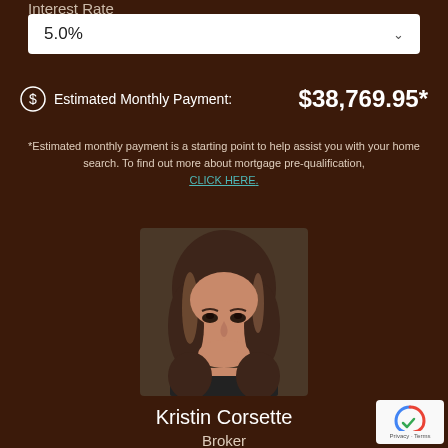Interest Rate
5.0%
Estimated Monthly Payment: $38,769.95*
*Estimated monthly payment is a starting point to help assist you with your home search. To find out more about mortgage pre-qualification, CLICK HERE.
[Figure (photo): Headshot photo of Kristin Corsette, a woman with long brown highlighted hair, smiling, wearing dark clothing]
Kristin Corsette
Broker